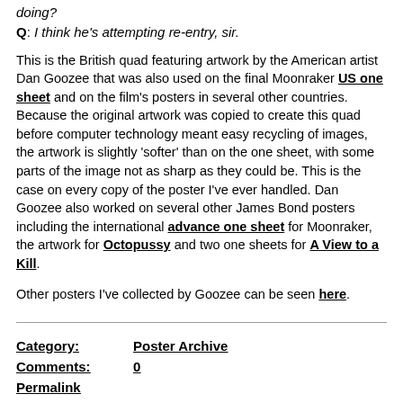doing?
Q: I think he's attempting re-entry, sir.
This is the British quad featuring artwork by the American artist Dan Goozee that was also used on the final Moonraker US one sheet and on the film's posters in several other countries. Because the original artwork was copied to create this quad before computer technology meant easy recycling of images, the artwork is slightly 'softer' than on the one sheet, with some parts of the image not as sharp as they could be. This is the case on every copy of the poster I've ever handled. Dan Goozee also worked on several other James Bond posters including the international advance one sheet for Moonraker, the artwork for Octopussy and two one sheets for A View to a Kill.
Other posters I've collected by Goozee can be seen here.
| Category: | Poster Archive |
| --- | --- |
| Comments: | 0 |
| Permalink |  |
Permalink